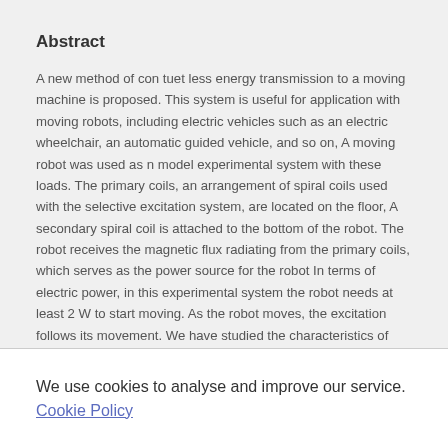Abstract
A new method of con tuet less energy transmission to a moving machine is proposed. This system is useful for application with moving robots, including electric vehicles such as an electric wheelchair, an automatic guided vehicle, and so on, A moving robot was used as n model experimental system with these loads. The primary coils, an arrangement of spiral coils used with the selective excitation system, are located on the floor, A secondary spiral coil is attached to the bottom of the robot. The robot receives the magnetic flux radiating from the primary coils, which serves as the power source for the robot In terms of electric power, in this experimental system the robot needs at least 2 W to start moving. As the robot moves, the excitation follows its movement. We have studied the characteristics of power transmission when the robot moves from one primary
We use cookies to analyse and improve our service. Cookie Policy